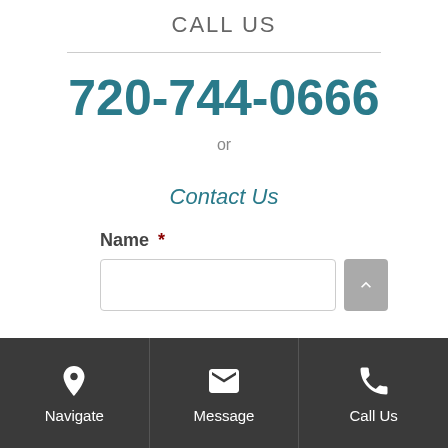CALL US
720-744-0666
or
Contact Us
Name *
Navigate | Message | Call Us